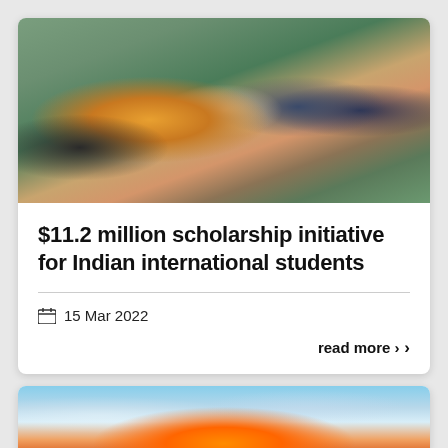[Figure (photo): Group of Indian college students standing together outdoors, some holding books and documents, in a green campus setting]
$11.2 million scholarship initiative for Indian international students
15 Mar 2022
read more ›
[Figure (photo): Sunset sky with orange and blue hues, possibly showing an airplane or birds in silhouette]